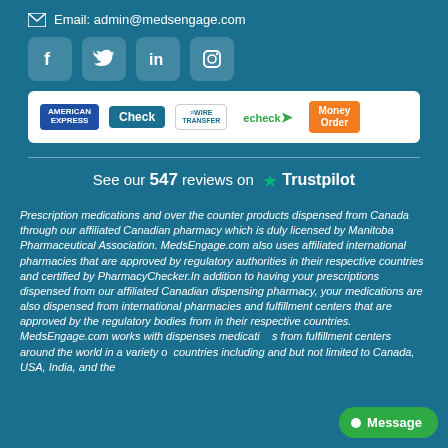Email: admin@medsengage.com
[Figure (logo): Social media icons: Facebook, Twitter, LinkedIn, Instagram]
[Figure (logo): Payment method logos: American Express, Check, Wire Transfer, echeck, Money Order]
See our 547 reviews on Trustpilot
Prescription medications and over the counter products dispensed from Canada through our affiliated Canadian pharmacy which is duly licensed by Manitoba Pharmaceutical Association. MedsEngage.com also uses affiliated international pharmacies that are approved by regulatory authorities in their respective countries and certified by PharmacyChecker.In addition to having your prescriptions dispensed from our affiliated Canadian dispensing pharmacy, your medications are also dispensed from international pharmacies and fulfillment centers that are approved by the regulatory bodies from in their respective countries. MedsEngage.com works with dispenses medications from fulfillment centers around the world in a variety of countries including and but not limited to Canada, USA, India, and the